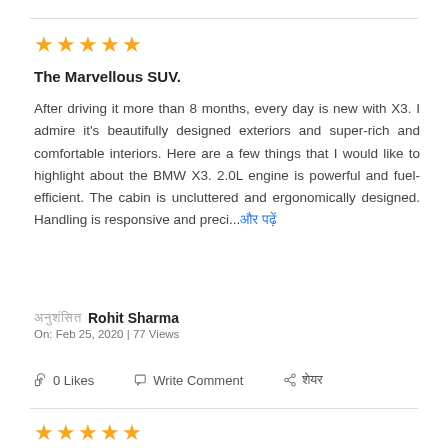[Figure (other): Five orange star rating icons]
The Marvellous SUV.
After driving it more than 8 months, every day is new with X3. I admire it's beautifully designed exteriors and super-rich and comfortable interiors. Here are a few things that I would like to highlight about the BMW X3. 2.0L engine is powerful and fuel-efficient. The cabin is uncluttered and ergonomically designed. Handling is responsive and preci...और पढ़ें
अनुशंसित Rohit Sharma
On: Feb 25, 2020 | 77 Views
0 Likes   Write Comment   शेयर
[Figure (other): Five orange star rating icons (second review)]